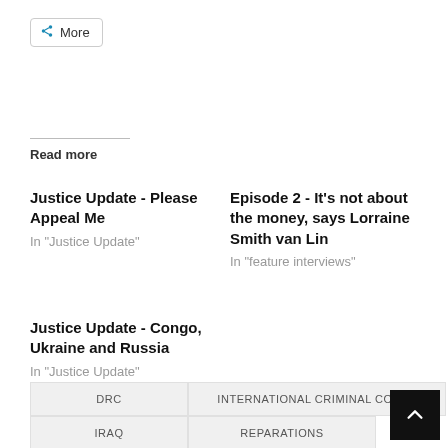More
Read more
Justice Update - Please Appeal Me
In "Justice Update"
Episode 2 - It's not about the money, says Lorraine Smith van Lin
In "feature interviews"
Justice Update - Congo, Ukraine and Russia
In "Justice Update"
DRC  INTERNATIONAL CRIMINAL COURT  IRAQ  REPARATIONS  TRUST FUND FOR VICTIMS